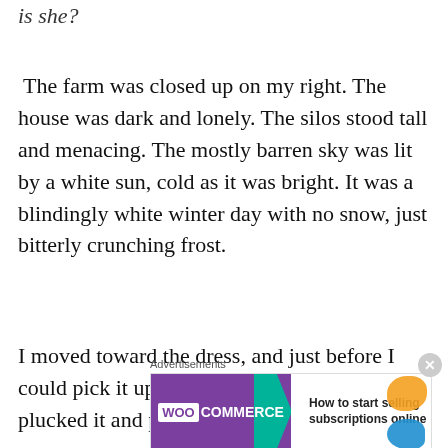is she?
The farm was closed up on my right. The house was dark and lonely. The silos stood tall and menacing. The mostly barren sky was lit by a white sun, cold as it was bright. It was a blindingly white winter day with no snow, just bitterly crunching frost.
I moved toward the dress, and just before I could pick it up, a harsh whistling wind plucked it and pushed the light garment far of
Advertisements
[Figure (other): WooCommerce advertisement banner: 'How to start selling subscriptions online']